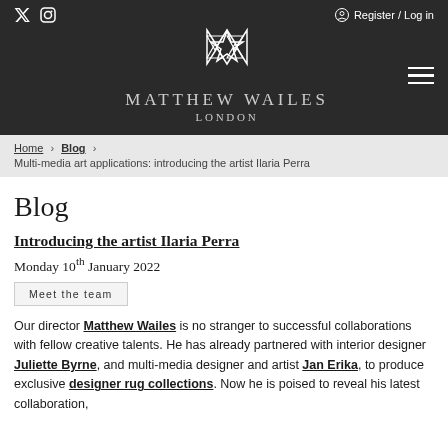Matthew Wailes London — site header with social icons (Twitter, Instagram), Register / Log in, brand logo, and hamburger menu
Home > Blog > Multi-media art applications: introducing the artist Ilaria Perra
Blog
Introducing the artist Ilaria Perra
Monday 10th January 2022
Meet the team
Our director Matthew Wailes is no stranger to successful collaborations with fellow creative talents. He has already partnered with interior designer Juliette Byrne, and multi-media designer and artist Jan Erika, to produce exclusive designer rug collections. Now he is poised to reveal his latest collaboration,